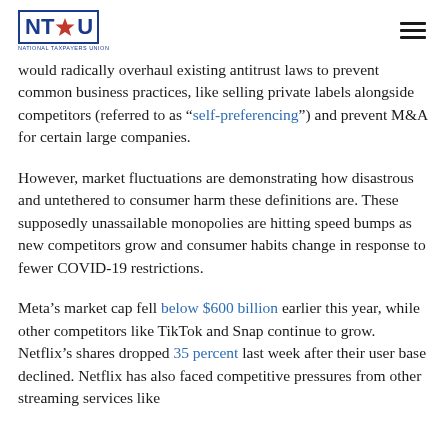NTU - National Taxpayers Union
would radically overhaul existing antitrust laws to prevent common business practices, like selling private labels alongside competitors (referred to as “self-preferencing”) and prevent M&A for certain large companies.
However, market fluctuations are demonstrating how disastrous and untethered to consumer harm these definitions are. These supposedly unassailable monopolies are hitting speed bumps as new competitors grow and consumer habits change in response to fewer COVID-19 restrictions.
Meta’s market cap fell below $600 billion earlier this year, while other competitors like TikTok and Snap continue to grow. Netflix’s shares dropped 35 percent last week after their user base declined. Netflix has also faced competitive pressures from other streaming services like